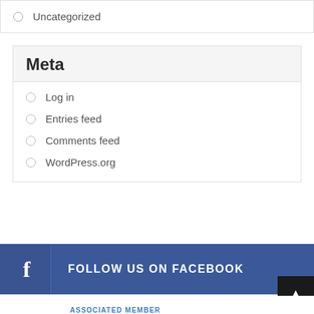Uncategorized
Meta
Log in
Entries feed
Comments feed
WordPress.org
FOLLOW US ON FACEBOOK
ASSOCIATED MEMBER